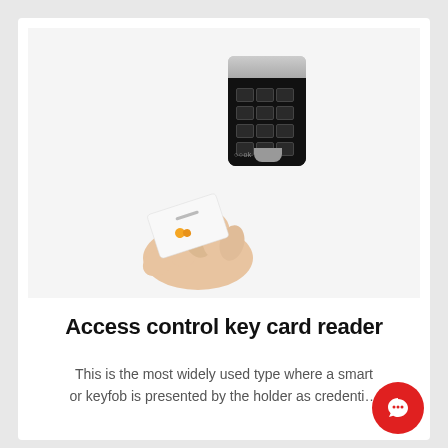[Figure (photo): A hand holding a white access control key card up to a black electronic keypad/card reader mounted on a white wall. The keypad has a silver top section with a numeric keypad in black. The card has an orange logo on it.]
Access control key card reader
This is the most widely used type where a smart or keyfob is presented by the holder as credenti…